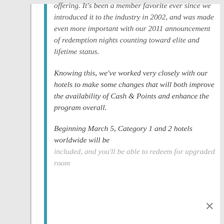offering. It's been a member favorite ever since we introduced it to the industry in 2002, and was made even more important with our 2011 announcement of redemption nights counting toward elite and lifetime status.
Knowing this, we've worked very closely with our hotels to make some changes that will both improve the availability of Cash & Points and enhance the program overall.
Beginning March 5, Category 1 and 2 hotels worldwide will be included, and you'll be able to redeem for upgraded room